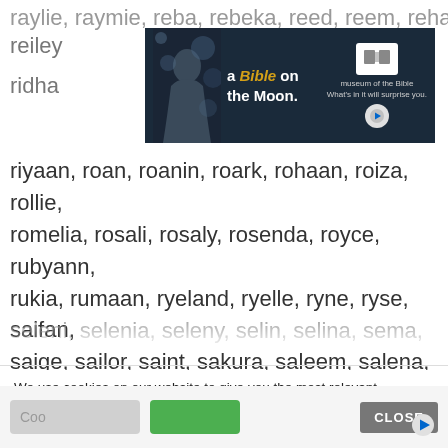raylie, raymie, reba, rebeka, reed, reem, rehaan, reiley, ridha
[Figure (other): Advertisement banner for 'a Bible on the Moon' by Museum of the Bible, featuring a person looking up against a dark background with bokeh lights, with text 'What's in it will surprise you.']
riyaan, roan, roanin, roark, rohaan, roiza, rollie, romelia, rosali, rosaly, rosenda, royce, rubyann, rukia, rumaan, ryeland, ryelle, ryne, ryse, saifan, saige, sailor, saint, sakura, saleem, salena, salia, sallie, samira, samyra, sanara, sanayah, sanne, sarahy, sarai, sarina, sariya, sayla, sayler, saylor, sean, sedona, seema, seerat, sekani, selena, seleni, selenia, seleny, selin, selina, sema, semai
We use cookies on our website to give you the most relevant experience by remembering your preferences and repeat visits. By clicking “Accept”, you consent to the use of ALL the cookies.
Do not sell my personal information.
Coo
CLOSE